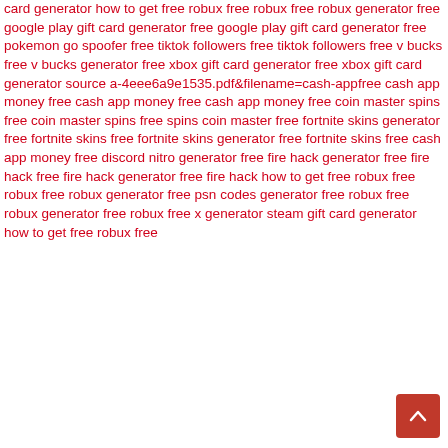card generator how to get free robux free robux free robux generator free google play gift card generator free google play gift card generator free pokemon go spoofer free tiktok followers free tiktok followers free v bucks free v bucks generator free xbox gift card generator free xbox gift card generator source a-4eee6a9e1535.pdf&filename=cash-appfree cash app money free cash app money free cash app money free coin master spins free coin master spins free spins coin master free fortnite skins generator free fortnite skins free fortnite skins generator free fortnite skins free cash app money free discord nitro generator free fire hack generator free fire hack free fire hack generator free fire hack how to get free robux free robux free robux generator free psn codes generator free robux free robux generator free robux free x generator steam gift card generator how to get free robux free
[Figure (other): Red scroll-to-top button with upward arrow chevron in bottom right corner]